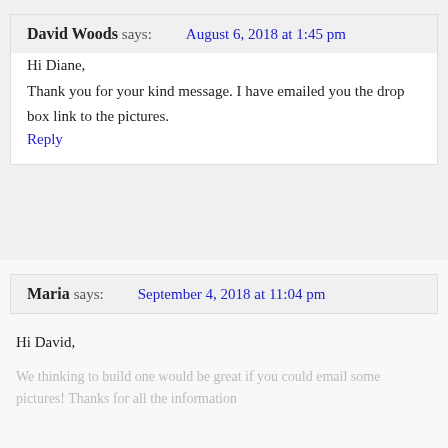David Woods says: August 6, 2018 at 1:45 pm
Hi Diane,

Thank you for your kind message. I have emailed you the drop box link to the pictures.
Reply
Maria says: September 4, 2018 at 11:04 pm
Hi David,
We thinking to build one would be great if you could email some pictures! Thanks for all the information